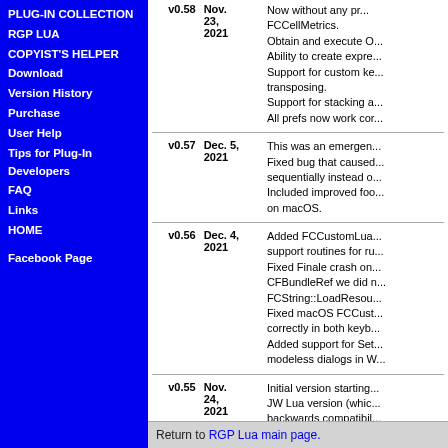PLUG-IN COLLECTION
RGP LUA
COPYIST'S HELPER
Download
Version History
Purchase
User Help
Tips for Plug-In Developers
FAQ
Links
HOME
Facebook Page
| Version | Date | Description |
| --- | --- | --- |
| v0.58 | Nov. 23, 2021 | Now without any problems FCCellMetrics. Obtain and execute O... Ability to create expre... Support for custom ke... transposing. Support for stacking a... All prefs now work cor... |
| v0.57 | Dec. 5, 2021 | This was an emergen... Fixed bug that caused... sequentially instead o... Included improved foo... on macOS. |
| v0.56 | Dec. 4, 2021 | Added FCCustomLua... support routines for ru... Fixed Finale crash on... CFBundleRef we did n... FCString::LoadResou... Fixed macOS FCCust... correctly in both keyb... Added support for Set... modeless dialogs in W... |
| v0.55 | Nov. 24, 2021 | Initial version starting... JW Lua version (whic... backwards compatibil... |
Return to RGP Lua main page.